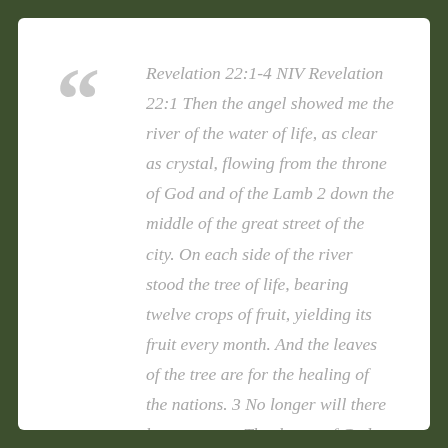Revelation 22:1-4 NIV Revelation 22:1 Then the angel showed me the river of the water of life, as clear as crystal, flowing from the throne of God and of the Lamb 2 down the middle of the great street of the city. On each side of the river stood the tree of life, bearing twelve crops of fruit, yielding its fruit every month. And the leaves of the tree are for the healing of the nations. 3 No longer will there be any curse. The throne of God and of the Lamb will be in the city, and his servants will serve him. 4